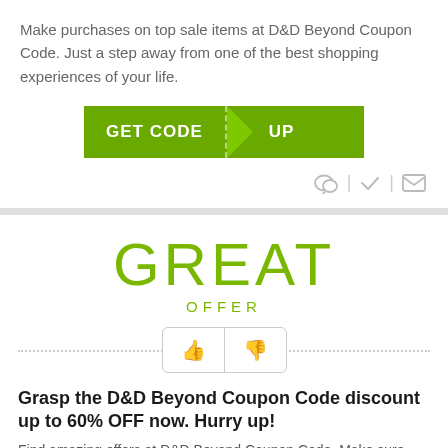Make purchases on top sale items at D&D Beyond Coupon Code. Just a step away from one of the best shopping experiences of your life.
[Figure (other): GET CODE button with dashed left border and arrow pointing right labeled UP, in olive green color]
[Figure (other): Icons row: chat bubble, vertical bar, checkmark, vertical bar, envelope — all in light gray]
GREAT
OFFER
[Figure (other): Thumbs up and thumbs down vote buttons side by side with dotted horizontal line behind them]
Grasp the D&D Beyond Coupon Code discount up to 60% OFF now. Hurry up!
Find amazing offers at D&D Beyond Coupon Code. Make sure